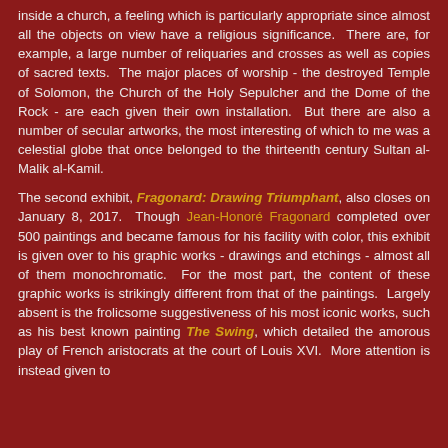inside a church, a feeling which is particularly appropriate since almost all the objects on view have a religious significance. There are, for example, a large number of reliquaries and crosses as well as copies of sacred texts. The major places of worship - the destroyed Temple of Solomon, the Church of the Holy Sepulcher and the Dome of the Rock - are each given their own installation. But there are also a number of secular artworks, the most interesting of which to me was a celestial globe that once belonged to the thirteenth century Sultan al-Malik al-Kamil.
The second exhibit, Fragonard: Drawing Triumphant, also closes on January 8, 2017. Though Jean-Honoré Fragonard completed over 500 paintings and became famous for his facility with color, this exhibit is given over to his graphic works - drawings and etchings - almost all of them monochromatic. For the most part, the content of these graphic works is strikingly different from that of the paintings. Largely absent is the frolicsome suggestiveness of his most iconic works, such as his best known painting The Swing, which detailed the amorous play of French aristocrats at the court of Louis XVI. More attention is instead given to